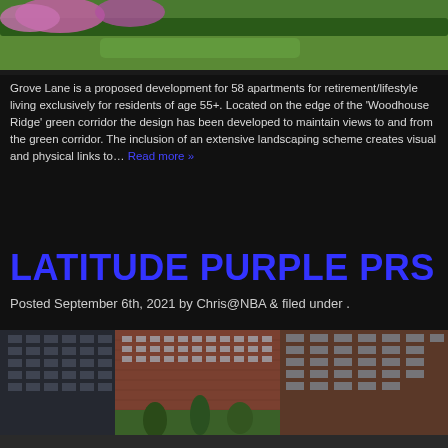[Figure (photo): Aerial or landscape photo showing green grass and vegetation with pink/purple flowering shrubs at the top, partially cropped at top of page]
Grove Lane is a proposed development for 58 apartments for retirement/lifestyle living exclusively for residents of age 55+. Located on the edge of the 'Woodhouse Ridge' green corridor the design has been developed to maintain views to and from the green corridor. The inclusion of an extensive landscaping scheme creates visual and physical links to… Read more »
LATITUDE PURPLE PRS
Posted September 6th, 2021 by Chris@NBA & filed under .
[Figure (photo): Architectural rendering of a large modern mixed-use development with brick and glass high-rise buildings surrounding a central courtyard with trees and landscaping, street level with pedestrians visible]